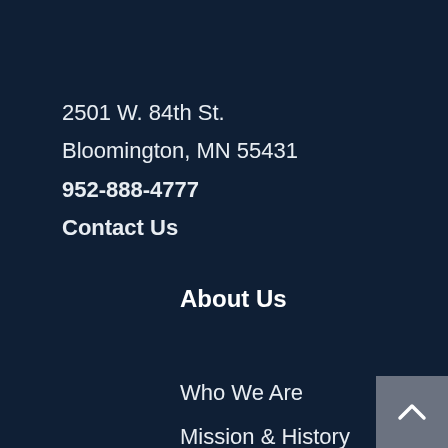2501 W. 84th St.
Bloomington, MN 55431
952-888-4777
Contact Us
About Us
Who We Are
Mission & History
Board of Trustees
Directory
Accounting